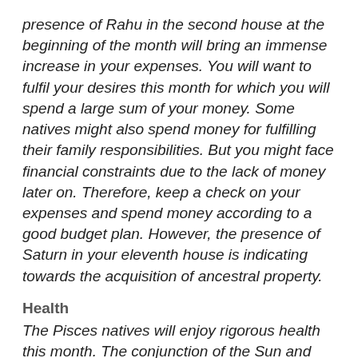presence of Rahu in the second house at the beginning of the month will bring an immense increase in your expenses. You will want to fulfil your desires this month for which you will spend a large sum of your money. Some natives might also spend money for fulfilling their family responsibilities. But you might face financial constraints due to the lack of money later on. Therefore, keep a check on your expenses and spend money according to a good budget plan. However, the presence of Saturn in your eleventh house is indicating towards the acquisition of ancestral property.
Health
The Pisces natives will enjoy rigorous health this month. The conjunction of the Sun and Venus in the sixth house in the first half of the month will